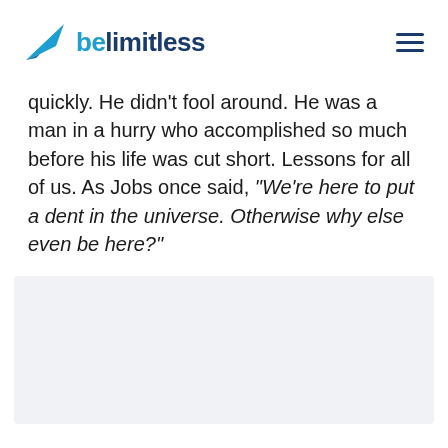belimitless
quickly. He didn't fool around. He was a man in a hurry who accomplished so much before his life was cut short. Lessons for all of us. As Jobs once said, “We’re here to put a dent in the universe. Otherwise why else even be here?”
[Figure (other): Light gray placeholder box]